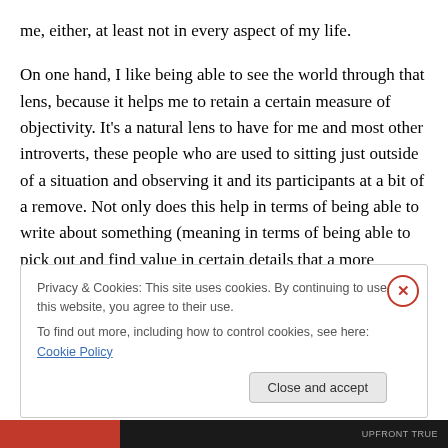me, either, at least not in every aspect of my life.
On one hand, I like being able to see the world through that lens, because it helps me to retain a certain measure of objectivity. It's a natural lens to have for me and most other introverts, these people who are used to sitting just outside of a situation and observing it and its participants at a bit of a remove. Not only does this help in terms of being able to write about something (meaning in terms of being able to pick out and find value in certain details that a more extroverted, immediately involved person might
Privacy & Cookies: This site uses cookies. By continuing to use this website, you agree to their use.
To find out more, including how to control cookies, see here: Cookie Policy